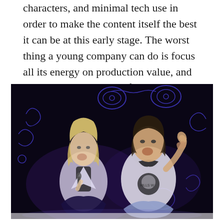characters, and minimal tech use in order to make the content itself the best it can be at this early stage. The worst thing a young company can do is focus all its energy on production value, and blowing their budget before they get started.
[Figure (photo): Two people on a dark stage with illustrated/painted backdrop. A blonde woman in a white blazer laughing and holding a microphone, facing a young man in a white t-shirt with dark graphic who is gesturing with a thumbs-up and laughing back. Purple/blue stage lighting. Dark background with blue line art drawings.]